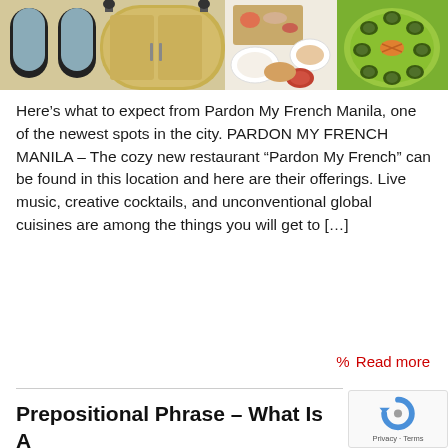[Figure (photo): Three-panel photo strip: left panel shows a yellow double door entrance with arched windows; middle panel shows overhead view of food platters and dishes; right panel shows a green plate with decoratively arranged food items.]
Here’s what to expect from Pardon My French Manila, one of the newest spots in the city. PARDON MY FRENCH MANILA – The cozy new restaurant “Pardon My French” can be found in this location and here are their offerings. Live music, creative cocktails, and unconventional global cuisines are among the things you will get to […]
% Read more
Prepositional Phrase – What Is A